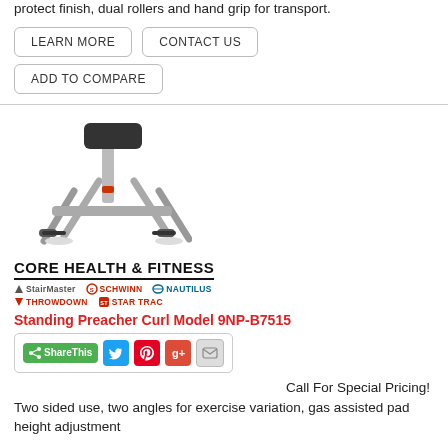protect finish, dual rollers and hand grip for transport.
LEARN MORE
CONTACT US
ADD TO COMPARE
[Figure (photo): A standing preacher curl exercise machine with silver metal frame, black padded arm rest, and dual rollers at the base.]
CORE HEALTH & FITNESS
StairMaster  SCHWINN  NAUTILUS  THROWDOWN  STAR TRAC
Standing Preacher Curl Model 9NP-B7515
ShareThis [Twitter] [Pinterest] [Google+] [Email]
Call For Special Pricing!
Two sided use, two angles for exercise variation, gas assisted pad height adjustment